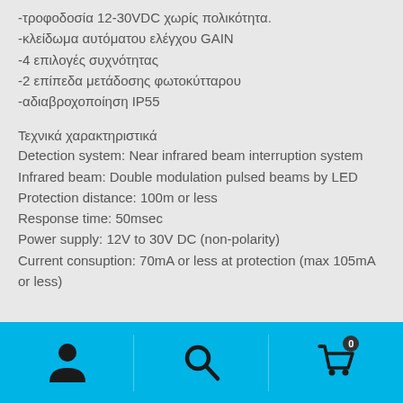-τροφοδοσία 12-30VDC χωρίς πολικότητα.
-κλείδωμα αυτόματου ελέγχου GAIN
-4 επιλογές συχνότητας
-2 επίπεδα μετάδοσης φωτοκύτταρου
-αδιαβροχοποίηση IP55
Τεχνικά χαρακτηριστικά
Detection system: Near infrared beam interruption system
Infrared beam: Double modulation pulsed beams by LED
Protection distance: 100m or less
Response time: 50msec
Power supply: 12V to 30V DC (non-polarity)
Current consuption: 70mA or less at protection (max 105mA or less)
[Figure (other): Bottom navigation bar with person icon, search icon, and shopping cart icon with badge showing 0]